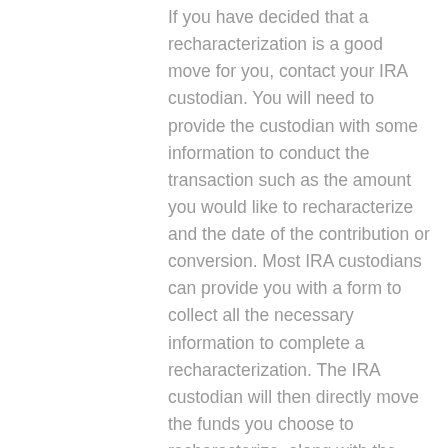If you have decided that a recharacterization is a good move for you, contact your IRA custodian. You will need to provide the custodian with some information to conduct the transaction such as the amount you would like to recharacterize and the date of the contribution or conversion. Most IRA custodians can provide you with a form to collect all the necessary information to complete a recharacterization. The IRA custodian will then directly move the funds you choose to recharacterize, along with the earnings or loss attributable, from the first IRA to the second IRA. This is a tax-free transaction but both IRAs report the transactions to you and the IRS. You will receive a 2018 Form 1099-R from the first IRA and a 2018 IRS Form 5498 from the second IRA.